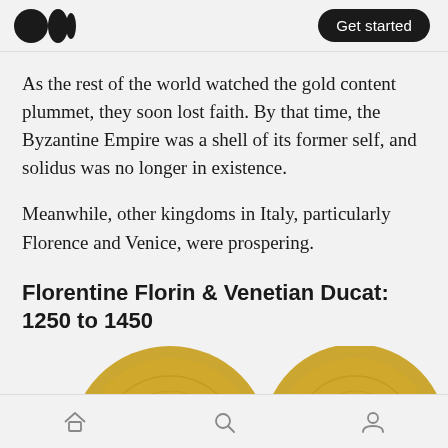Medium logo | Get started
As the rest of the world watched the gold content plummet, they soon lost faith. By that time, the Byzantine Empire was a shell of its former self, and solidus was no longer in existence.
Meanwhile, other kingdoms in Italy, particularly Florence and Venice, were prospering.
Florentine Florin & Venetian Ducat: 1250 to 1450
[Figure (photo): Two gold coins partially visible at the bottom of the page — a Florentine Florin and a Venetian Ducat]
Home | Search | Profile navigation icons